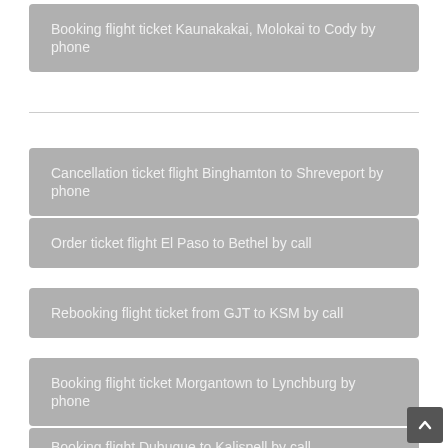Booking flight ticket Kaunakakai, Molokai to Cody by phone
Cancellation ticket flight Binghamton to Shreveport by phone
Order ticket flight El Paso to Bethel by call
Rebooking flight ticket from GJT to KSM by call
Booking flight ticket Morgantown to Lynchburg by phone
Booking flight Dubuque to Kalispell by call
Reservation ticket flight Twin Falls to San Francisco by phone